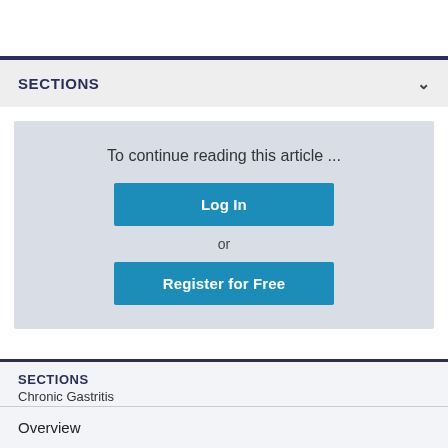SECTIONS
To continue reading this article ...
Log In
or
Register for Free
SECTIONS
Chronic Gastritis
Overview
Presentation